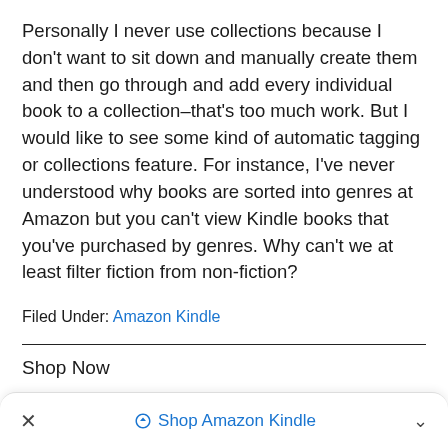Personally I never use collections because I don't want to sit down and manually create them and then go through and add every individual book to a collection–that's too much work. But I would like to see some kind of automatic tagging or collections feature. For instance, I've never understood why books are sorted into genres at Amazon but you can't view Kindle books that you've purchased by genres. Why can't we at least filter fiction from non-fiction?
Filed Under: Amazon Kindle
Shop Now
× Shop Amazon Kindle ^